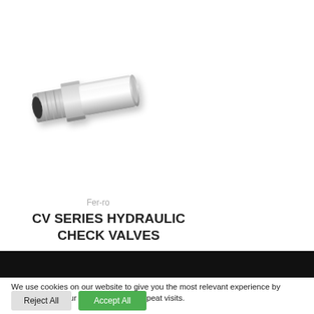[Figure (photo): Photograph of a silver/chrome hydraulic check valve fitting — cylindrical body with threaded female end on the left and smooth cylindrical barrel on the right]
Fer-ro
CV SERIES HYDRAULIC CHECK VALVES
We use cookies on our website to give you the most relevant experience by remembering your preferences and repeat visits.